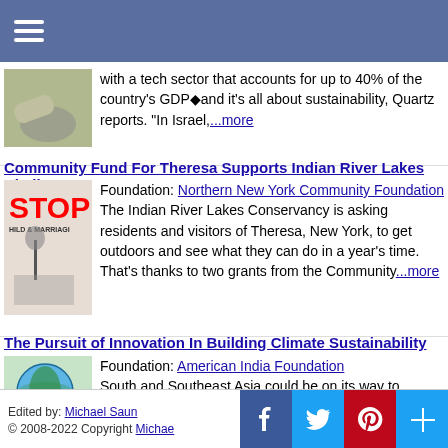Navigation header bar
with a tech sector that accounts for up to 40% of the country's GDP◆and it's all about sustainability, Quartz reports. "In Israel,...more
Community Fund For Theresa Supports Indian River Lakes Challenge
Foundation: Northern New York Community Foundation
The Indian River Lakes Conservancy is asking residents and visitors of Theresa, New York, to get outdoors and see what they can do in a year's time. That's thanks to two grants from the Community...more
The Pursuit of Innovation In Building Climate Sustainability
Foundation: American India Foundation
South and Southeast Asia could be on its way to becoming one of the world's most energy-efficient regions, according to a new report from the American Institute for International Finance. But it's...more
Edited by: Michael Saun
© 2008-2022 Copyright Michae